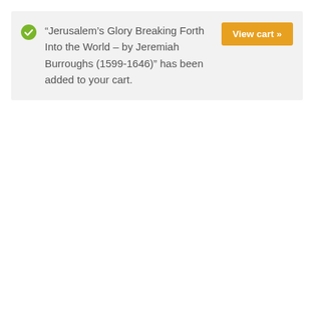“Jerusalem’s Glory Breaking Forth Into the World – by Jeremiah Burroughs (1599-1646)” has been added to your cart.